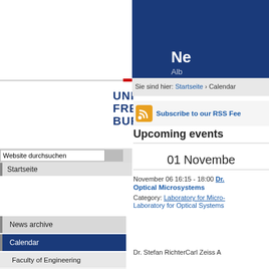[Figure (logo): UNI FREIBURG vertical logo with red accent dash]
Ne... Alb...
Sie sind hier: Startseite › Calendar
[Figure (illustration): RSS feed orange icon]
Subscribe to our RSS Fee...
Upcoming events
01 November
November 06 16:15 - 18:00 Dr. Optical Microsystems
Category: Laboratory for Micro-... Laboratory for Optical Systems...
Dr. Stefan RichterCarl Zeiss A...
Website durchsuchen
Startseite
News archive
Calendar
Faculty of Engineering
FAIM
Brown-Bag-Lectures
Invited talks
Leuchtturmvorträge